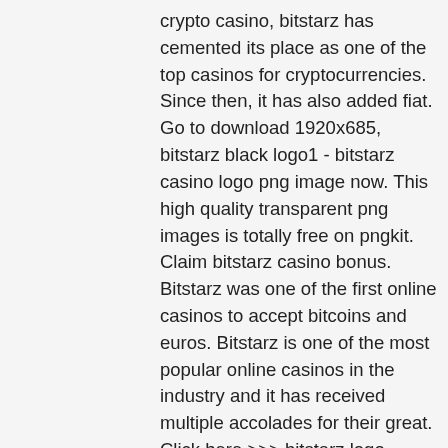crypto casino, bitstarz has cemented its place as one of the top casinos for cryptocurrencies. Since then, it has also added fiat. Go to download 1920x685, bitstarz black logo1 - bitstarz casino logo png image now. This high quality transparent png images is totally free on pngkit. Claim bitstarz casino bonus. Bitstarz was one of the first online casinos to accept bitcoins and euros. Bitstarz is one of the most popular online casinos in the industry and it has received multiple accolades for their great. Click here &gt;&gt;&gt; bitstarz logo bitstarz logo while playing bitcoin slots with the highest number of paylines, you'll minimize the effects of the house,. About bitstarz casino; no deposit bonus + welcome package; bitstarz games; payment options; customer service; casinocheff's verdict; faqs Payment methods ; neosurf logo neosurf, $20, $6,000, instantly, n/a ; muchbetter logo muchbetter, $20, $4,000, instantly, $50